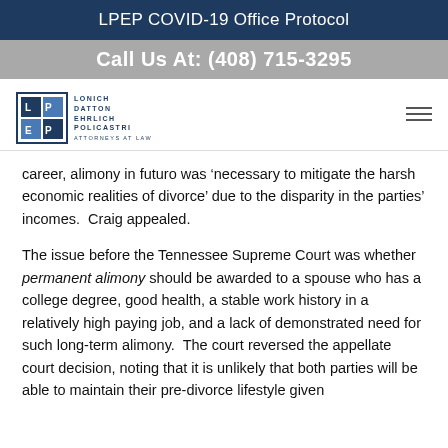LPEP COVID-19 Office Protocol
Call Us At: (408) 715-3295
[Figure (logo): LPEP law firm logo with text: Lonich Patton Ehrlich Policastri, Attorneys at Law]
career, alimony in futuro was ‘necessary to mitigate the harsh economic realities of divorce’ due to the disparity in the parties’ incomes.  Craig appealed.
The issue before the Tennessee Supreme Court was whether permanent alimony should be awarded to a spouse who has a college degree, good health, a stable work history in a relatively high paying job, and a lack of demonstrated need for such long-term alimony.  The court reversed the appellate court decision, noting that it is unlikely that both parties will be able to maintain their pre-divorce lifestyle given